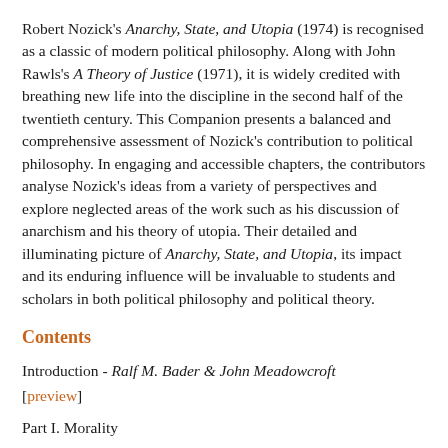Robert Nozick's Anarchy, State, and Utopia (1974) is recognised as a classic of modern political philosophy. Along with John Rawls's A Theory of Justice (1971), it is widely credited with breathing new life into the discipline in the second half of the twentieth century. This Companion presents a balanced and comprehensive assessment of Nozick's contribution to political philosophy. In engaging and accessible chapters, the contributors analyse Nozick's ideas from a variety of perspectives and explore neglected areas of the work such as his discussion of anarchism and his theory of utopia. Their detailed and illuminating picture of Anarchy, State, and Utopia, its impact and its enduring influence will be invaluable to students and scholars in both political philosophy and political theory.
Contents
Introduction - Ralf M. Bader & John Meadowcroft [preview]
Part I. Morality
1. Side Constraints, Lockean Individual Rights, and the Moral